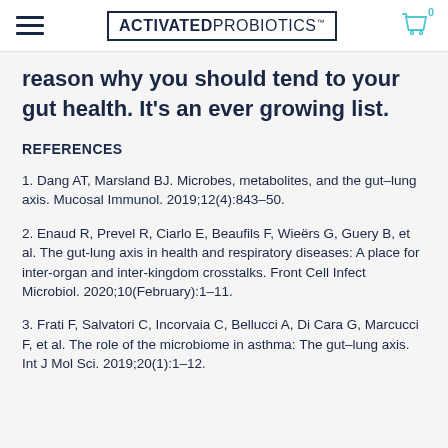ACTIVATED PROBIOTICS
reason why you should tend to your gut health. It's an ever growing list.
REFERENCES
1. Dang AT, Marsland BJ. Microbes, metabolites, and the gut–lung axis. Mucosal Immunol. 2019;12(4):843–50.
2. Enaud R, Prevel R, Ciarlo E, Beaufils F, Wieërs G, Guery B, et al. The gut-lung axis in health and respiratory diseases: A place for inter-organ and inter-kingdom crosstalks. Front Cell Infect Microbiol. 2020;10(February):1–11.
3. Frati F, Salvatori C, Incorvaia C, Bellucci A, Di Cara G, Marcucci F, et al. The role of the microbiome in asthma: The gut–lung axis. Int J Mol Sci. 2019;20(1):1–12.